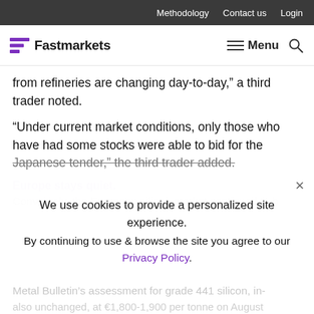Methodology  Contact us  Login
Fastmarkets  Menu
from refineries are changing day-to-day,” a third trader noted.
“Under current market conditions, only those who have had some stocks were able to bid for the Japanese tender,” the third trader added.
Europe stays quiet.
Conversely, the European silicon market continued to b
Metal Bulletin’s assessment for grade 441 silicon, in-
We use cookies to provide a personalized site experience.
By continuing to use & browse the site you agree to our Privacy Policy.
Proceed
also unchanged, at €1,800-1,900 per tonne on August